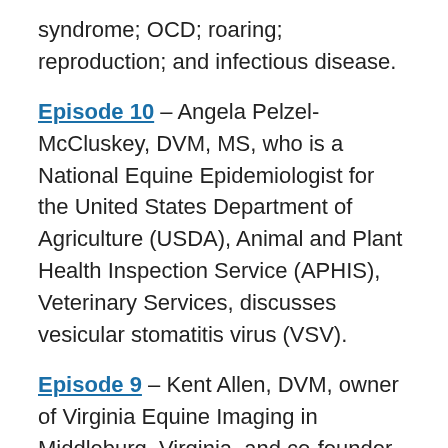syndrome; OCD; roaring; reproduction; and infectious disease.
Episode 10 – Angela Pelzel-McCluskey, DVM, MS, who is a National Equine Epidemiologist for the United States Department of Agriculture (USDA), Animal and Plant Health Inspection Service (APHIS), Veterinary Services, discusses vesicular stomatitis virus (VSV).
Episode 9 – Kent Allen, DVM, owner of Virginia Equine Imaging in Middleburg, Virginia, and co-founder of ISELP, discusses lameness diagnosis and ISELP.